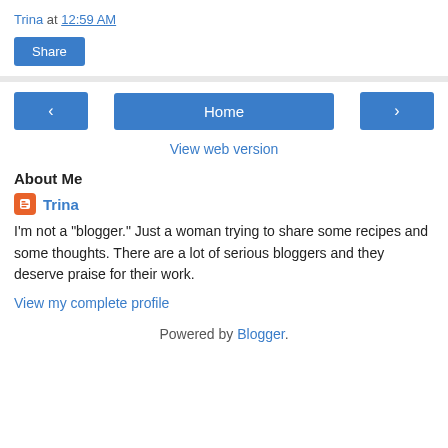Trina at 12:59 AM
Share
Home
View web version
About Me
Trina
I'm not a "blogger." Just a woman trying to share some recipes and some thoughts. There are a lot of serious bloggers and they deserve praise for their work.
View my complete profile
Powered by Blogger.